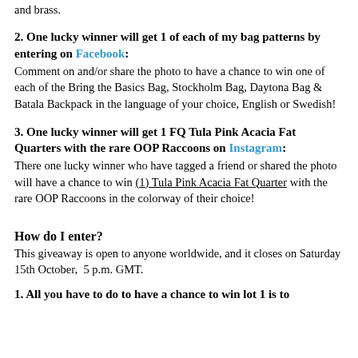and brass.
2. One lucky winner will get 1 of each of my bag patterns by entering on Facebook:
Comment on and/or share the photo to have a chance to win one of each of the Bring the Basics Bag, Stockholm Bag, Daytona Bag & Batala Backpack in the language of your choice, English or Swedish!
3. One lucky winner will get 1 FQ Tula Pink Acacia Fat Quarters with the rare OOP Raccoons on Instagram:
There one lucky winner who have tagged a friend or shared the photo will have a chance to win (1) Tula Pink Acacia Fat Quarter with the rare OOP Raccoons in the colorway of their choice!
How do I enter?
This giveaway is open to anyone worldwide, and it closes on Saturday 15th October,  5 p.m. GMT.
1. All you have to do to have a chance to win lot 1 is to